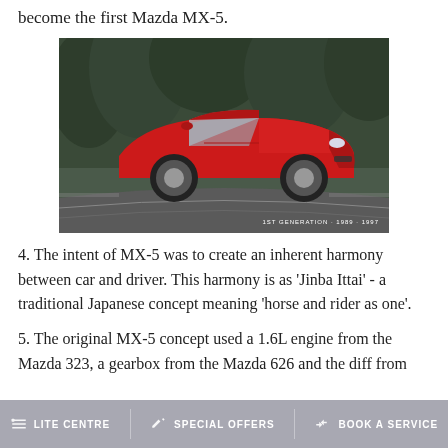become the first Mazda MX-5.
[Figure (photo): Red first generation Mazda MX-5 sports car driving on a road, with trees in background. Caption reads: 1ST GENERATION · 1989 · 1997]
4. The intent of MX-5 was to create an inherent harmony between car and driver. This harmony is as 'Jinba Ittai' - a traditional Japanese concept meaning 'horse and rider as one'.
5. The original MX-5 concept used a 1.6L engine from the Mazda 323, a gearbox from the Mazda 626 and the diff from
LITE CENTRE   SPECIAL OFFERS   BOOK A SERVICE